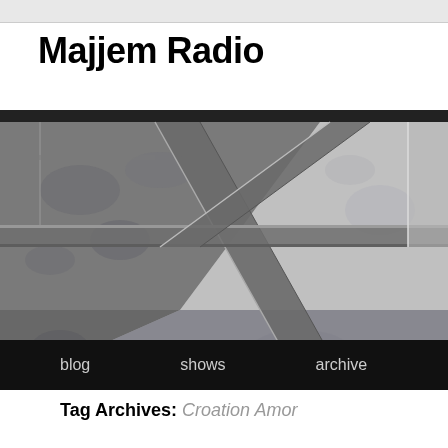Majjem Radio
[Figure (photo): Black and white photo of decorative ceiling tiles or panels viewed from below, with geometric patterns and frame-like structural elements crossing diagonally]
blog  shows  archive  contact
Tag Archives: Croation Amor